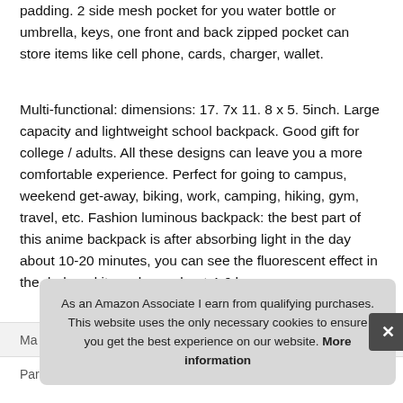padding. 2 side mesh pocket for you water bottle or umbrella, keys, one front and back zipped pocket can store items like cell phone, cards, charger, wallet.
Multi-functional: dimensions: 17. 7x 11. 8 x 5. 5inch. Large capacity and lightweight school backpack. Good gift for college / adults. All these designs can leave you a more comfortable experience. Perfect for going to campus, weekend get-away, biking, work, camping, hiking, gym, travel, etc. Fashion luminous backpack: the best part of this anime backpack is after absorbing light in the day about 10-20 minutes, you can see the fluorescent effect in the dark and it can keep about 4-6 hours.
As an Amazon Associate I earn from qualifying purchases. This website uses the only necessary cookies to ensure you get the best experience on our website. More information
| Ma… |  |
| Part Number | NewBlackAnimeBackpack |